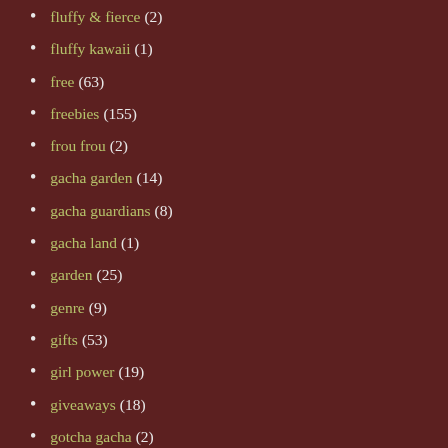fluffy & fierce (2)
fluffy kawaii (1)
free (63)
freebies (155)
frou frou (2)
gacha garden (14)
gacha guardians (8)
gacha land (1)
garden (25)
genre (9)
gifts (53)
girl power (19)
giveaways (18)
gotcha gacha (2)
hair fair (25)
hairology (27)
hangar (1)
harajuku (3)